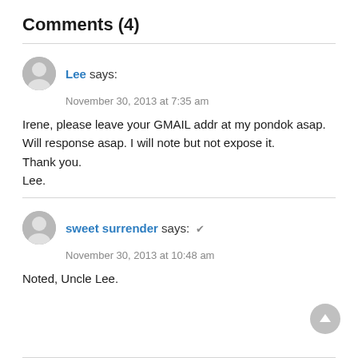Comments (4)
Lee says:
November 30, 2013 at 7:35 am

Irene, please leave your GMAIL addr at my pondok asap. Will response asap. I will note but not expose it.
Thank you.
Lee.
sweet surrender says: ✓
November 30, 2013 at 10:48 am

Noted, Uncle Lee.